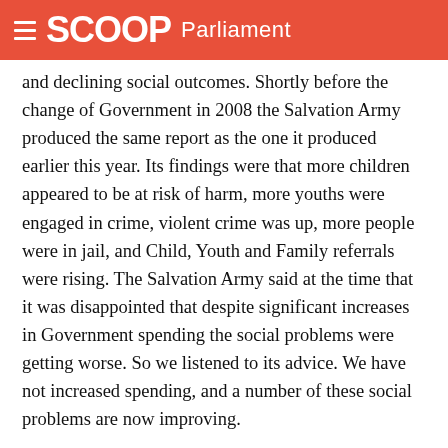SCOOP Parliament
and declining social outcomes. Shortly before the change of Government in 2008 the Salvation Army produced the same report as the one it produced earlier this year. Its findings were that more children appeared to be at risk of harm, more youths were engaged in crime, violent crime was up, more people were in jail, and Child, Youth and Family referrals were rising. The Salvation Army said at the time that it was disappointed that despite significant increases in Government spending the social problems were getting worse. So we listened to its advice. We have not increased spending, and a number of these social problems are now improving.